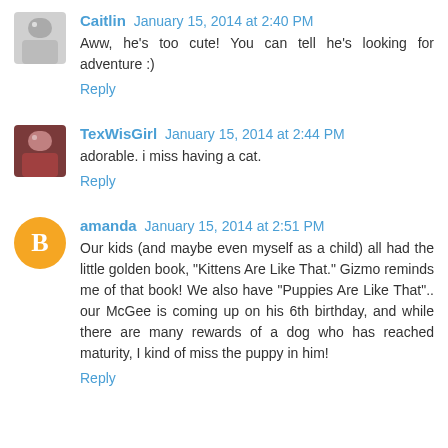Caitlin January 15, 2014 at 2:40 PM
Aww, he's too cute! You can tell he's looking for adventure :)
Reply
TexWisGirl January 15, 2014 at 2:44 PM
adorable. i miss having a cat.
Reply
amanda January 15, 2014 at 2:51 PM
Our kids (and maybe even myself as a child) all had the little golden book, "Kittens Are Like That." Gizmo reminds me of that book! We also have "Puppies Are Like That".. our McGee is coming up on his 6th birthday, and while there are many rewards of a dog who has reached maturity, I kind of miss the puppy in him!
Reply